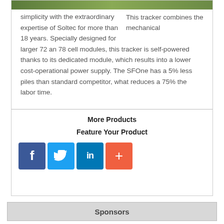[Figure (photo): Partial view of a solar tracker installation in a green field — cropped photo strip at top of card]
This tracker combines the mechanical simplicity with the extraordinary expertise of Soltec for more than 18 years. Specially designed for larger 72 an 78 cell modules, this tracker is self-powered thanks to its dedicated module, which results into a lower cost-operational power supply. The SFOne has a 5% less piles than standard competitor, what reduces a 75% the labor time.
More Products
Feature Your Product
[Figure (logo): Social media icons: Facebook (blue f), Twitter (blue bird), LinkedIn (blue in), and a red/orange plus button]
Sponsors